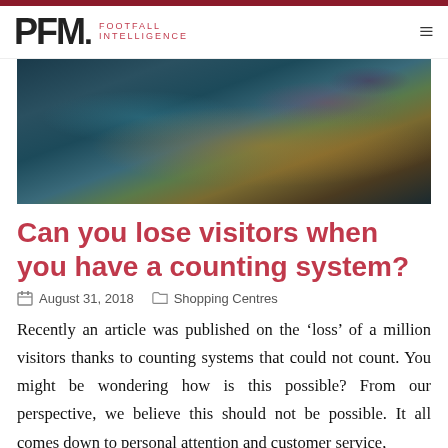PFM Footfall Intelligence
[Figure (photo): Abstract blurred motion photo of a shopping crowd with colorful overlapping light trails in blues, greens, yellows, and purples against a dark background]
Can you lose visitors when you have a counting system?
August 31, 2018   Shopping Centres
Recently an article was published on the 'loss' of a million visitors thanks to counting systems that could not count. You might be wondering how is this possible? From our perspective, we believe this should not be possible. It all comes down to personal attention and customer service,